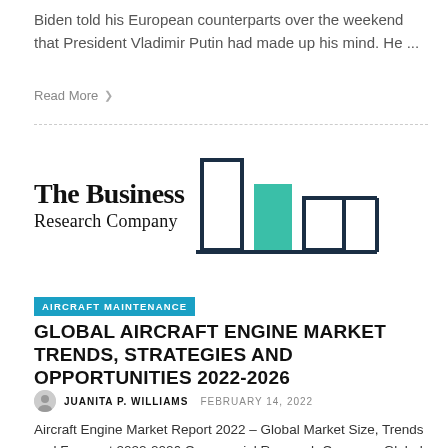Biden told his European counterparts over the weekend that President Vladimir Putin had made up his mind. He ...
Read More ❯
[Figure (logo): The Business Research Company logo with bar chart graphic in teal and dark navy outline]
AIRCRAFT MAINTENANCE
GLOBAL AIRCRAFT ENGINE MARKET TRENDS, STRATEGIES AND OPPORTUNITIES 2022-2026
JUANITA P. WILLIAMS  FEBRUARY 14, 2022
Aircraft Engine Market Report 2022 – Global Market Size, Trends and Forecast 2022-2026 Commercial Research Company Global Aircraft Engine Market Report 2022...